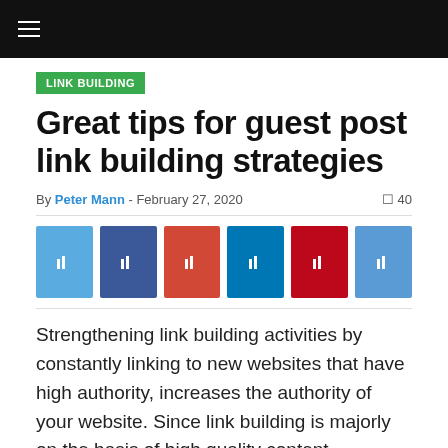Navigation bar with hamburger menu icon
LINK BUILDING
Great tips for guest post link building strategies
By Peter Mann - February 27, 2020  40
[Figure (other): Social sharing buttons: Twitter, Facebook, Google+, LinkedIn, Pinterest, Email]
Strengthening link building activities by constantly linking to new websites that have high authority, increases the authority of your website. Since link building is majorly on the basis of high quality content